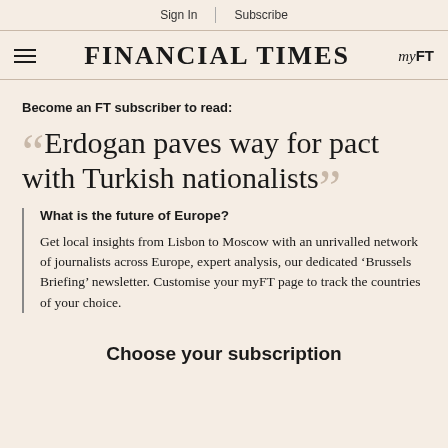Sign In | Subscribe
FINANCIAL TIMES  myFT
Become an FT subscriber to read:
Erdogan paves way for pact with Turkish nationalists
What is the future of Europe?
Get local insights from Lisbon to Moscow with an unrivalled network of journalists across Europe, expert analysis, our dedicated 'Brussels Briefing' newsletter. Customise your myFT page to track the countries of your choice.
Choose your subscription